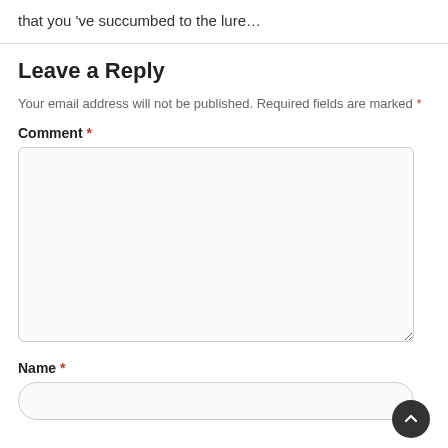that you 've succumbed to the lure…
Leave a Reply
Your email address will not be published. Required fields are marked *
Comment *
Name *